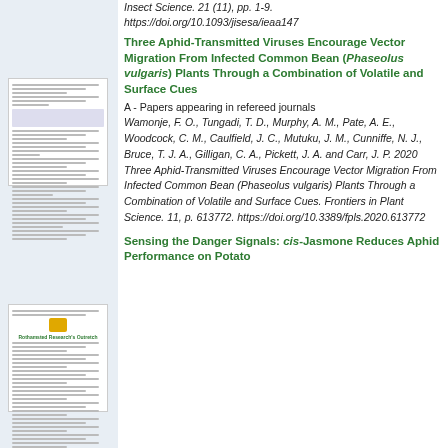Insect Science. 21 (11), pp. 1-9. https://doi.org/10.1093/jisesa/ieaa147
[Figure (other): Thumbnail of a scientific paper page]
Three Aphid-Transmitted Viruses Encourage Vector Migration From Infected Common Bean (Phaseolus vulgaris) Plants Through a Combination of Volatile and Surface Cues
A - Papers appearing in refereed journals
Wamonje, F. O., Tungadi, T. D., Murphy, A. M., Pate, A. E., Woodcock, C. M., Caulfield, J. C., Mutuku, J. M., Cunniffe, N. J., Bruce, T. J. A., Gilligan, C. A., Pickett, J. A. and Carr, J. P. 2020 Three Aphid-Transmitted Viruses Encourage Vector Migration From Infected Common Bean (Phaseolus vulgaris) Plants Through a Combination of Volatile and Surface Cues. Frontiers in Plant Science. 11, p. 613772. https://doi.org/10.3389/fpls.2020.613772
[Figure (other): Thumbnail of a scientific paper page with logo]
Sensing the Danger Signals: cis-Jasmone Reduces Aphid Performance on Potato